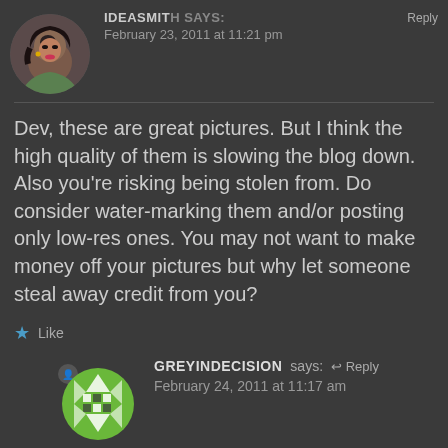[Figure (photo): Circular avatar photo of a woman with dark hair and pink lipstick]
IDEASMIT... says:
February 23, 2011 at 11:21 pm
Dev, these are great pictures. But I think the high quality of them is slowing the blog down. Also you’re risking being stolen from. Do consider water-marking them and/or posting only low-res ones. You may not want to make money off your pictures but why let someone steal away credit from you?
Like
[Figure (logo): Circular green avatar with geometric triangle and square pattern design, with a small lock/user icon badge]
GREYINDECISION says:
February 24, 2011 at 11:17 am